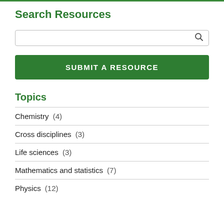Search Resources
[Figure (screenshot): Search input box with magnifying glass icon on the right]
[Figure (screenshot): Green button labeled SUBMIT A RESOURCE]
Topics
Chemistry  (4)
Cross disciplines  (3)
Life sciences  (3)
Mathematics and statistics  (7)
Physics  (12)